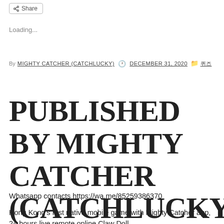[Figure (other): Share button with share icon]
Loading...
By MIGHTY CATCHER (CATCHLUCKY) [clock icon] DECEMBER 31, 2020 [folder icon] 퀴즈
PUBLISHED BY MIGHTY CATCHER (CATCHLUCKY)
Whatsapp contacts https://wa.me/85259386370
Hong Kong's first native mobile game with Mighty Catcher app, 24 hours live remote online Claw Doll